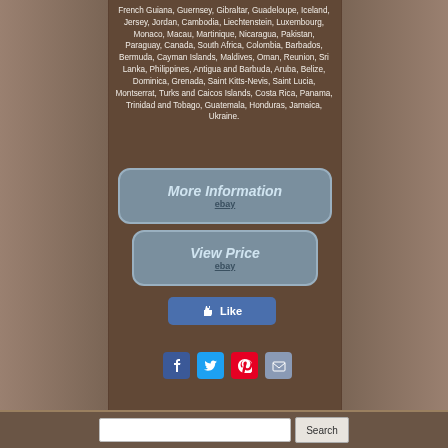French Guiana, Guernsey, Gibraltar, Guadeloupe, Iceland, Jersey, Jordan, Cambodia, Liechtenstein, Luxembourg, Monaco, Macau, Martinique, Nicaragua, Pakistan, Paraguay, Canada, South Africa, Colombia, Barbados, Bermuda, Cayman Islands, Maldives, Oman, Reunion, Sri Lanka, Philippines, Antigua and Barbuda, Aruba, Belize, Dominica, Grenada, Saint Kitts-Nevis, Saint Lucia, Montserrat, Turks and Caicos Islands, Costa Rica, Panama, Trinidad and Tobago, Guatemala, Honduras, Jamaica, Ukraine.
[Figure (other): Button linking to More Information on eBay]
[Figure (other): Button linking to View Price on eBay]
[Figure (other): Facebook Like button]
[Figure (other): Social sharing icons: Facebook, Twitter, Pinterest, Email]
Search